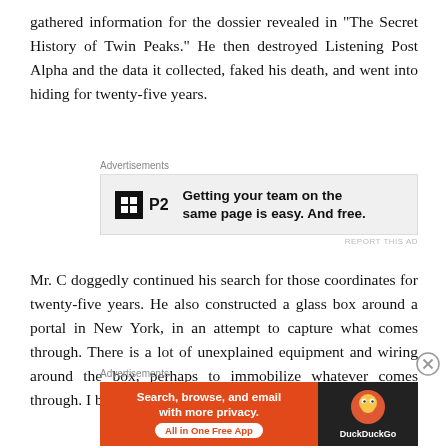gathered information for the dossier revealed in “The Secret History of Twin Peaks.” He then destroyed Listening Post Alpha and the data it collected, faked his death, and went into hiding for twenty-five years.
[Figure (screenshot): P2 advertisement banner: logo with 'P2' text and tagline 'Getting your team on the same page is easy. And free.']
Mr. C doggedly continued his search for those coordinates for twenty-five years. He also constructed a glass box around a portal in New York, in an attempt to capture what comes through. There is a lot of unexplained equipment and wiring around the box, perhaps to immobilize whatever comes through. I believe Judy does
[Figure (screenshot): DuckDuckGo advertisement: 'Search, browse, and email with more privacy. All in One Free App' on orange background with DuckDuckGo logo on dark background.]